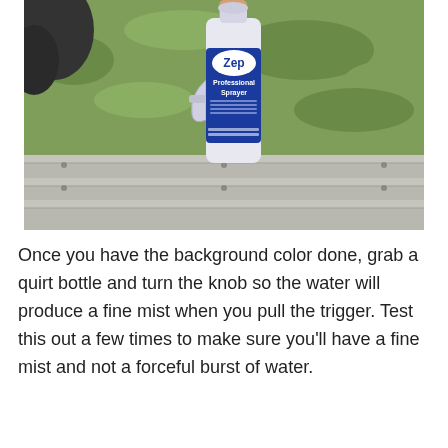[Figure (photo): A hand holding a Zep Professional Sprayer bottle (white plastic spray bottle with blue label) over a wooden bench, with green grass visible in the background.]
Once you have the background color done, grab a quirt bottle and turn the knob so the water will produce a fine mist when you pull the trigger. Test this out a few times to make sure you'll have a fine mist and not a forceful burst of water.